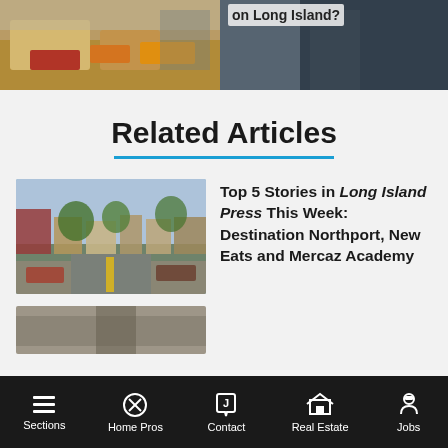[Figure (photo): Food photo on left side, top of page, partial view showing food items on counter]
[Figure (photo): Photo of person in dark clothing on right side, top of page with text 'on Long Island?' partially visible]
Related Articles
[Figure (photo): Street scene in Northport, historic downtown with brick buildings, trees, parked cars, cobblestone road with yellow center lines]
Top 5 Stories in Long Island Press This Week: Destination Northport, New Eats and Mercaz Academy
[Figure (photo): Partial photo visible at bottom of page, appears to be ground/pavement level]
Sections | Home Pros | Contact | Real Estate | Jobs